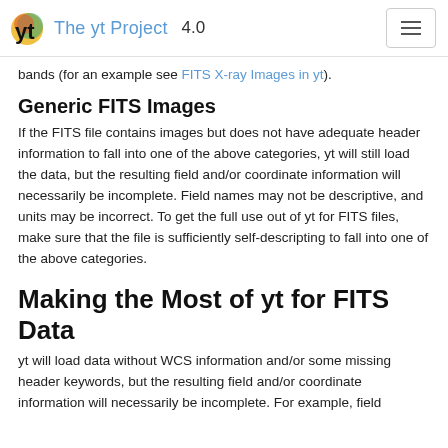The yt Project 4.0
bands (for an example see FITS X-ray Images in yt).
Generic FITS Images
If the FITS file contains images but does not have adequate header information to fall into one of the above categories, yt will still load the data, but the resulting field and/or coordinate information will necessarily be incomplete. Field names may not be descriptive, and units may be incorrect. To get the full use out of yt for FITS files, make sure that the file is sufficiently self-descripting to fall into one of the above categories.
Making the Most of yt for FITS Data
yt will load data without WCS information and/or some missing header keywords, but the resulting field and/or coordinate information will necessarily be incomplete. For example, field